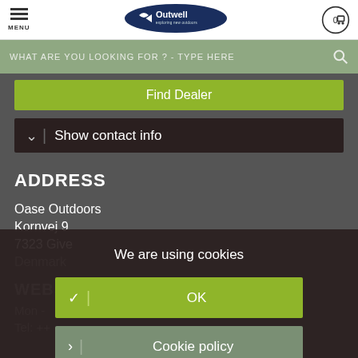[Figure (logo): Outwell logo - dark blue oval with white arrow/wave icon and Outwell wordmark, tagline 'exploring new outdoors']
WHAT ARE YOU LOOKING FOR ? - TYPE HERE
Find Dealer
Show contact info
ADDRESS
Oase Outdoors
Kornvej 9
7323 Give
Denmark
WEBSHOP SERVICE
Mon -
Tel: ++
We are using cookies
OK
Cookie policy